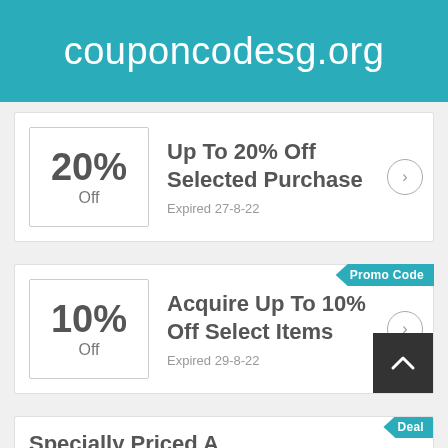couponcodesg.org
20% Off — Up To 20% Off Selected Purchase — Expired 27-8-22
10% Off — Acquire Up To 10% Off Select Items — Expired 29-8-22
Deal — Specially Priced A...